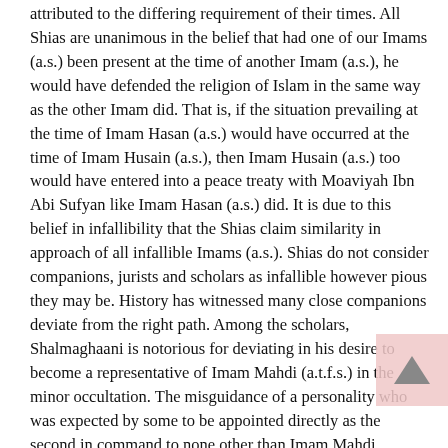attributed to the differing requirement of their times. All Shias are unanimous in the belief that had one of our Imams (a.s.) been present at the time of another Imam (a.s.), he would have defended the religion of Islam in the same way as the other Imam did. That is, if the situation prevailing at the time of Imam Hasan (a.s.) would have occurred at the time of Imam Husain (a.s.), then Imam Husain (a.s.) too would have entered into a peace treaty with Moaviyah Ibn Abi Sufyan like Imam Hasan (a.s.) did. It is due to this belief in infallibility that the Shias claim similarity in approach of all infallible Imams (a.s.). Shias do not consider companions, jurists and scholars as infallible however pious they may be. History has witnessed many close companions deviate from the right path. Among the scholars, Shalmaghaani is notorious for deviating in his desire to become a representative of Imam Mahdi (a.t.f.s.) in the minor occultation. The misguidance of a personality who was expected by some to be appointed directly as the second in command to none other than Imam Mahdi (a.t.f.s.) is a grim reminder and also a warning to Shias in the major occultation.
Our great and pious scholars also have never claimed any